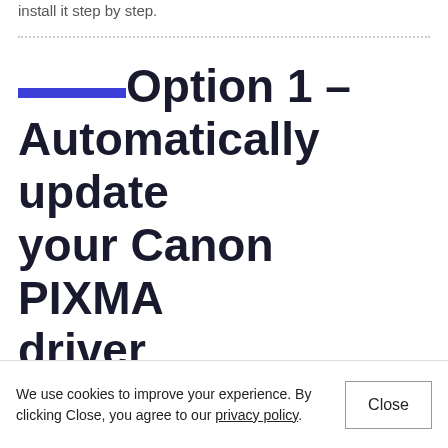install it step by step.
Option 1 – Automatically update your Canon PIXMA driver (recommended)
We use cookies to improve your experience. By clicking Close, you agree to our privacy policy.